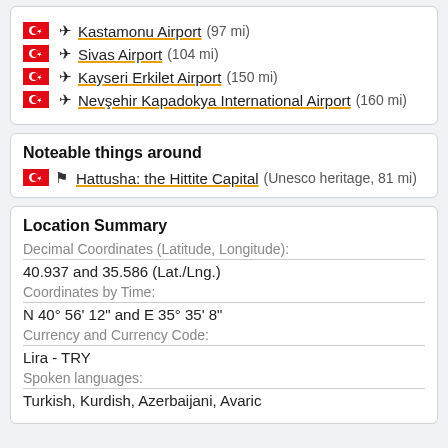Kastamonu Airport (97 mi)
Sivas Airport (104 mi)
Kayseri Erkilet Airport (150 mi)
Nevşehir Kapadokya International Airport (160 mi)
Noteable things around
Hattusha: the Hittite Capital (Unesco heritage, 81 mi)
Location Summary
Decimal Coordinates (Latitude, Longitude):
40.937 and 35.586 (Lat./Lng.)
Coordinates by Time:
N 40° 56' 12" and E 35° 35' 8"
Currency and Currency Code:
Lira - TRY
Spoken languages:
Turkish, Kurdish, Azerbaijani, Avaric